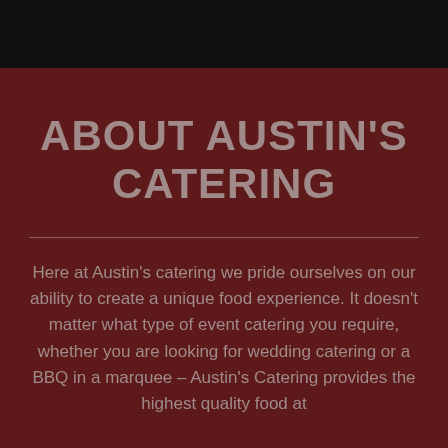ABOUT AUSTIN'S CATERING
Here at Austin's catering we pride ourselves on our ability to create a unique food experience. It doesn't matter what type of event catering you require, whether you are looking for wedding catering or a BBQ in a marquee – Austin's Catering provides the highest quality food at